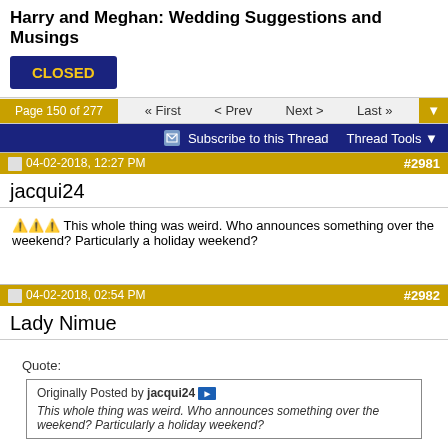Harry and Meghan: Wedding Suggestions and Musings
CLOSED
Page 150 of 277 « First < Prev Next > Last »
Subscribe to this Thread  Thread Tools
04-02-2018, 12:27 PM  #2981
jacqui24
🔺🔺🔺 This whole thing was weird. Who announces something over the weekend? Particularly a holiday weekend?
04-02-2018, 02:54 PM  #2982
Lady Nimue
Quote:
Originally Posted by jacqui24 ▶
This whole thing was weird. Who announces something over the weekend? Particularly a holiday weekend?